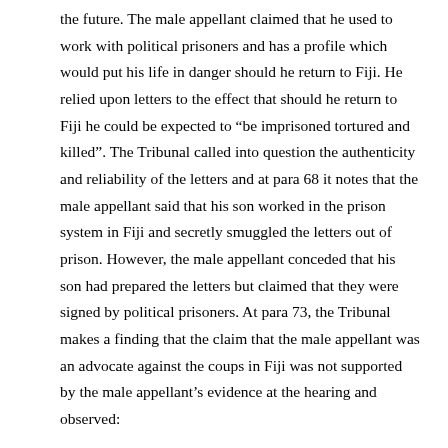the future. The male appellant claimed that he used to work with political prisoners and has a profile which would put his life in danger should he return to Fiji. He relied upon letters to the effect that should he return to Fiji he could be expected to “be imprisoned tortured and killed”. The Tribunal called into question the authenticity and reliability of the letters and at para 68 it notes that the male appellant said that his son worked in the prison system in Fiji and secretly smuggled the letters out of prison. However, the male appellant conceded that his son had prepared the letters but claimed that they were signed by political prisoners. At para 73, the Tribunal makes a finding that the claim that the male appellant was an advocate against the coups in Fiji was not supported by the male appellant’s evidence at the hearing and observed: